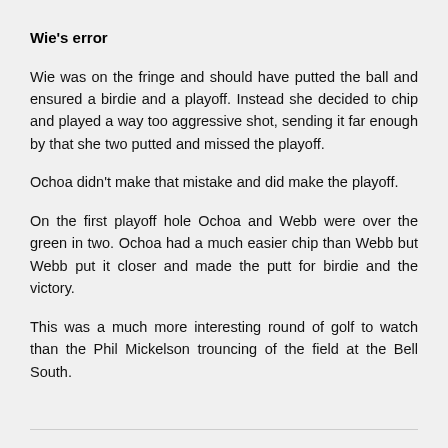Wie's error
Wie was on the fringe and should have putted the ball and ensured a birdie and a playoff. Instead she decided to chip and played a way too aggressive shot, sending it far enough by that she two putted and missed the playoff.
Ochoa didn't make that mistake and did make the playoff.
On the first playoff hole Ochoa and Webb were over the green in two. Ochoa had a much easier chip than Webb but Webb put it closer and made the putt for birdie and the victory.
This was a much more interesting round of golf to watch than the Phil Mickelson trouncing of the field at the Bell South.